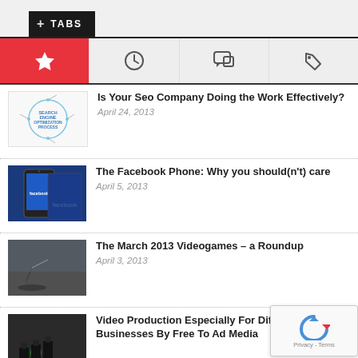+ TABS
[Figure (other): Navigation tabs with icons: starred/favorite (active, red), clock, speech bubble, tag]
[Figure (other): Thumbnail: Search Engine Optimization Process circular diagram]
Is Your Seo Company Doing the Work Effectively?
April 24, 2013
[Figure (other): Thumbnail: Facebook phone showing Facebook logo on device]
The Facebook Phone: Why you should(n't) care
April 5, 2013
[Figure (other): Thumbnail: Videogame scene, dark background with archer]
The March 2013 Videogames – a Roundup
April 3, 2013
[Figure (other): Thumbnail: Video production silhouettes of people]
Video Production Especially For Different Businesses By Free To Ad Media
[Figure (other): reCAPTCHA Privacy widget overlay]